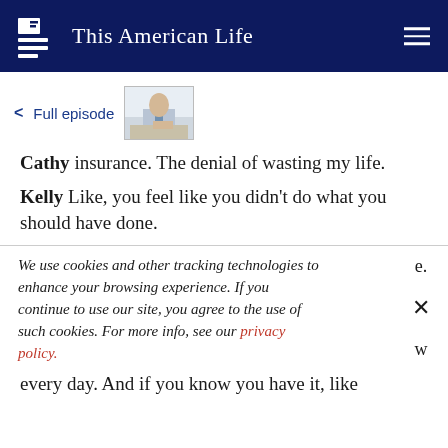This American Life
< Full episode
[Figure (photo): Thumbnail image of a person in business attire writing or signing a document]
Cathy insurance. The denial of wasting my life.
Kelly Like, you feel like you didn't do what you should have done.
We use cookies and other tracking technologies to enhance your browsing experience. If you continue to use our site, you agree to the use of such cookies. For more info, see our privacy policy.
every day. And if you know you have it, like